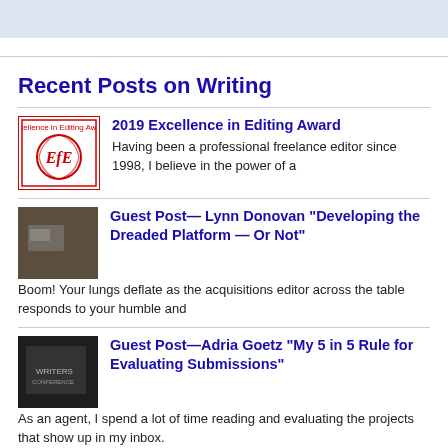Recent Posts on Writing
[Figure (logo): Excellence in Editing Award logo with EfE monogram in red circle with wreath]
2019 Excellence in Editing Award
Having been a professional freelance editor since 1998, I believe in the power of a
[Figure (photo): Dark photo thumbnail for Lynn Donovan guest post]
Guest Post— Lynn Donovan "Developing the Dreaded Platform — Or Not"
Boom! Your lungs deflate as the acquisitions editor across the table responds to your humble and
[Figure (photo): Dark photo thumbnail for Adria Goetz guest post]
Guest Post—Adria Goetz "My 5 in 5 Rule for Evaluating Submissions"
As an agent, I spend a lot of time reading and evaluating the projects that show up in my inbox.
[Figure (logo): Two small circular logos/icons for 7th Annual Promising Beginnings]
7th Annual "Promising Beginnings" Christian Writer Contest